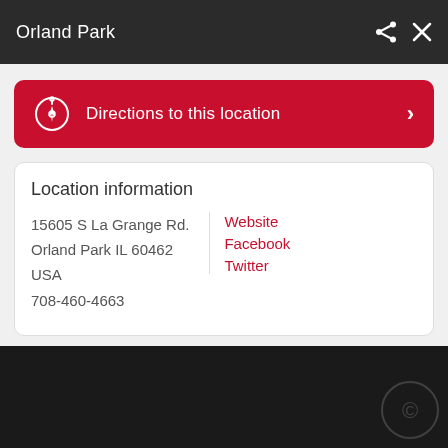Orland Park
Directions to this location
Location information
15605 S La Grange Rd.
Orland Park IL 60462
USA
708-460-4663
Website | Facebook | Twitter